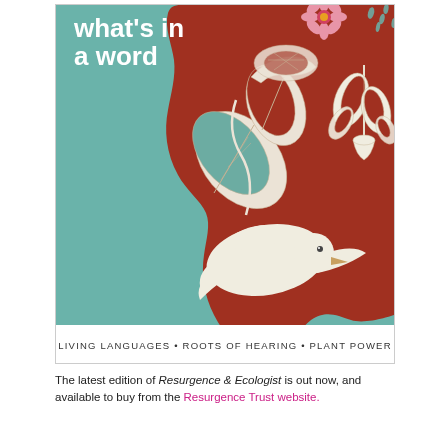[Figure (illustration): Magazine cover of Resurgence & Ecologist. Teal/turquoise background with large red silhouette of a human head in profile facing right. Inside the head are illustrated white botanical elements (leaves, vines, flowers, a plant stem) and a white dove flying from the mouth area. Upper right corner has a pink daisy flower and rain drops. Title text 'what's in a word' in white. Bottom strip reads 'LIVING LANGUAGES • ROOTS OF HEARING • PLANT POWER'.]
The latest edition of Resurgence & Ecologist is out now, and available to buy from the Resurgence Trust website.